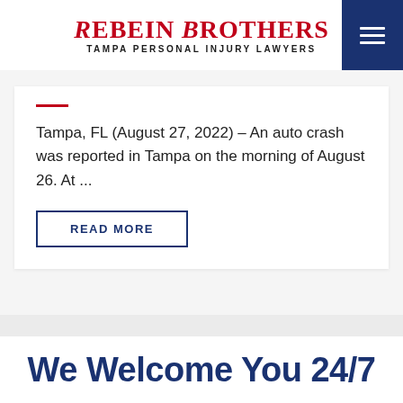Rebein Brothers — Tampa Personal Injury Lawyers
Tampa, FL (August 27, 2022) – An auto crash was reported in Tampa on the morning of August 26. At ...
READ MORE
We Welcome You 24/7